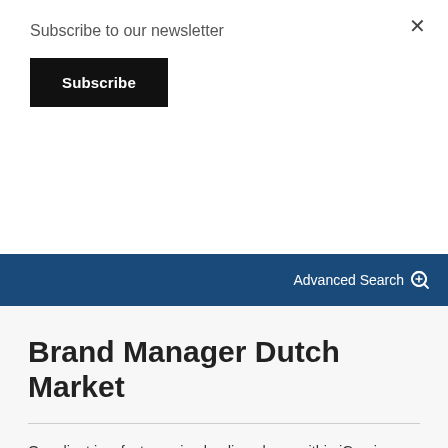Subscribe to our newsletter
Subscribe
×
Advanced Search
Brand Manager Dutch Market
Our client is a fast-growing leading player within iGaming affiliation. Their mission is to help people make the right decisions in a complex iGaming World through their digital brands. Their vision is to be the world's number one provider of high quality content based on...